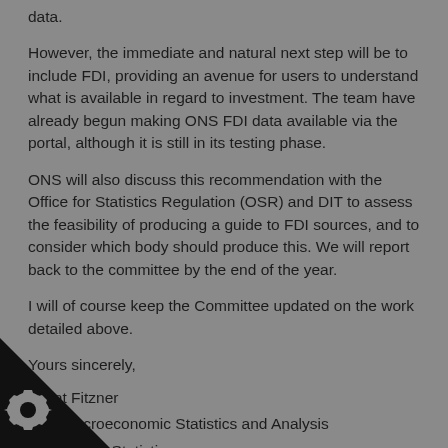data.
However, the immediate and natural next step will be to include FDI, providing an avenue for users to understand what is available in regard to investment. The team have already begun making ONS FDI data available via the portal, although it is still in its testing phase.
ONS will also discuss this recommendation with the Office for Statistics Regulation (OSR) and DIT to assess the feasibility of producing a guide to FDI sources, and to consider which body should produce this. We will report back to the committee by the end of the year.
I will of course keep the Committee updated on the work detailed above.
Yours sincerely,
Grant Fitzner
ctor, Macroeconomic Statistics and Analysis
for National Statistics
[Figure (logo): Black triangle corner decoration in bottom-left with a gear/cog icon badge]